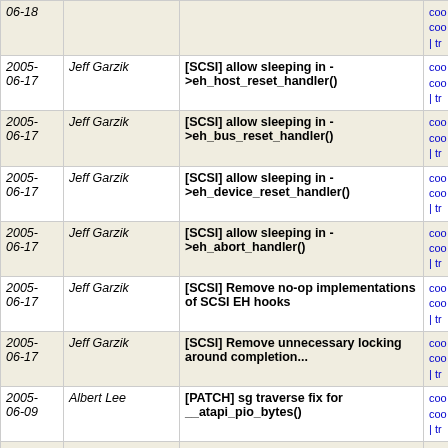| Date | Author | Commit | Links |
| --- | --- | --- | --- |
| 2005-06-18 |  |  | coo
coo
| tr |
| 2005-06-17 | Jeff Garzik | [SCSI] allow sleeping in ->eh_host_reset_handler() | coo
coo
| tr |
| 2005-06-17 | Jeff Garzik | [SCSI] allow sleeping in ->eh_bus_reset_handler() | coo
coo
| tr |
| 2005-06-17 | Jeff Garzik | [SCSI] allow sleeping in ->eh_device_reset_handler() | coo
coo
| tr |
| 2005-06-17 | Jeff Garzik | [SCSI] allow sleeping in ->eh_abort_handler() | coo
coo
| tr |
| 2005-06-17 | Jeff Garzik | [SCSI] Remove no-op implementations of SCSI EH hooks | coo
coo
| tr |
| 2005-06-17 | Jeff Garzik | [SCSI] Remove unnecessary locking around completion... | coo
coo
| tr |
| 2005-06-09 | Albert Lee | [PATCH] sg traverse fix for __atapi_pio_bytes() | coo
coo
| tr |
| 2005-06-09 | Narendra Sankar | [PATCH] sata_svw: bump version number | coo
coo
| tr |
| 2005-06-09 | Jens Axboe | [PATCH] sata_sil: Fix FIFO PCI Bus Arbitration kernel... | coo
coo
| tr |
| 2005-06-04 | <jgarzik@pretzel... | Automatic merge of /spare/repo/netdev-2.6 branch skge | coo
coo
| tr |
| 2005-06-04 | <jgarzik@pretzel... | Automatic merge of /spare/repo/netdev-2.6 branch starfire | coo
coo
| tr |
| 2005-06-04 | <jgarzik@pretzel... | Automatic merge of /spare/repo/netdev-2.6 branch smc91x | coo
coo
| tr |